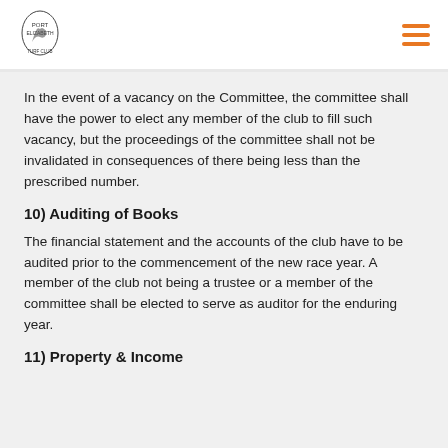[Club logo and navigation hamburger menu]
In the event of a vacancy on the Committee, the committee shall have the power to elect any member of the club to fill such vacancy, but the proceedings of the committee shall not be invalidated in consequences of there being less than the prescribed number.
10) Auditing of Books
The financial statement and the accounts of the club have to be audited prior to the commencement of the new race year. A member of the club not being a trustee or a member of the committee shall be elected to serve as auditor for the enduring year.
11) Property & Income